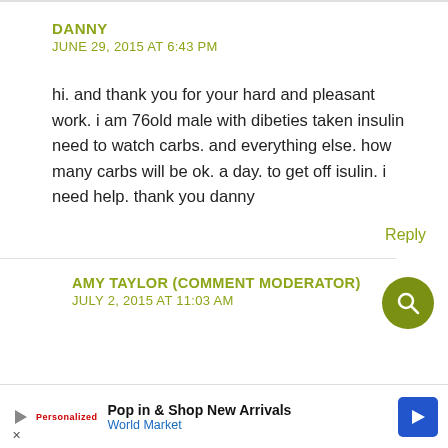DANNY
JUNE 29, 2015 AT 6:43 PM
hi. and thank you for your hard and pleasant work. i am 76old male with dibeties taken insulin need to watch carbs. and everything else. how many carbs will be ok. a day. to get off isulin. i need help. thank you danny
Reply
AMY TAYLOR (COMMENT MODERATOR)
JULY 2, 2015 AT 11:03 AM
Pop in & Shop New Arrivals World Market